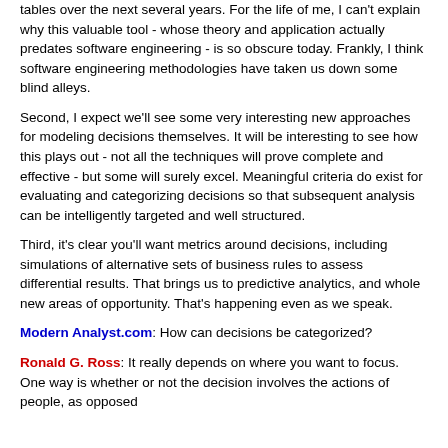tables over the next several years. For the life of me, I can't explain why this valuable tool - whose theory and application actually predates software engineering - is so obscure today. Frankly, I think software engineering methodologies have taken us down some blind alleys.
Second, I expect we'll see some very interesting new approaches for modeling decisions themselves. It will be interesting to see how this plays out - not all the techniques will prove complete and effective - but some will surely excel. Meaningful criteria do exist for evaluating and categorizing decisions so that subsequent analysis can be intelligently targeted and well structured.
Third, it's clear you'll want metrics around decisions, including simulations of alternative sets of business rules to assess differential results. That brings us to predictive analytics, and whole new areas of opportunity. That's happening even as we speak.
Modern Analyst.com: How can decisions be categorized?
Ronald G. Ross: It really depends on where you want to focus. One way is whether or not the decision involves the actions of people, as opposed